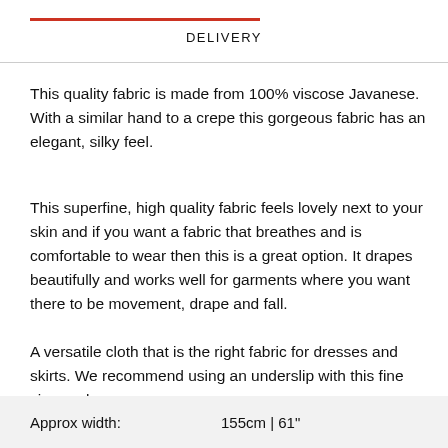DELIVERY
This quality fabric is made from 100% viscose Javanese. With a similar hand to a crepe this gorgeous fabric has an elegant, silky feel.
This superfine, high quality fabric feels lovely next to your skin and if you want a fabric that breathes and is comfortable to wear then this is a great option. It drapes beautifully and works well for garments where you want there to be movement, drape and fall.
A versatile cloth that is the right fabric for dresses and skirts. We recommend using an underslip with this fine viscose lawn.
| Approx width: | 155cm | 61" |
| --- | --- |